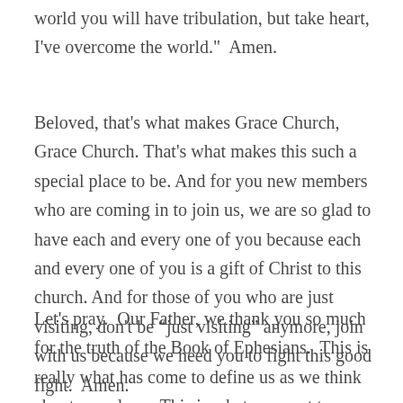world you will have tribulation, but take heart, I've overcome the world."  Amen.
Beloved, that's what makes Grace Church, Grace Church.  That's what makes this such a special place to be.  And for you new members who are coming in to join us, we are so glad to have each and every one of you because each and every one of you is a gift of Christ to this church.  And for those of you who are just visiting, don't be "just visiting" anymore, join with us because we need you to fight this good fight.  Amen.
Let's pray.  Our Father, we thank you so much for the truth of the Book of Ephesians.  This is really what has come to define us as we think about ourselves.  This is what we want to characterize us through and through,